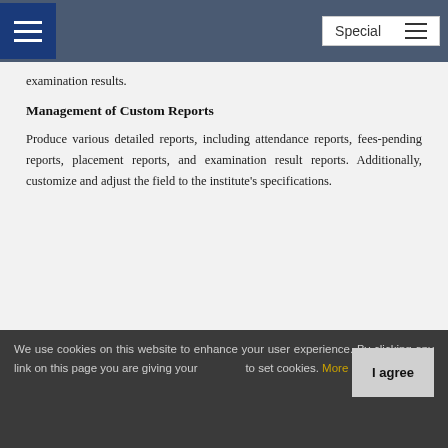Special
examination results.
Management of Custom Reports
Produce various detailed reports, including attendance reports, fees-pending reports, placement reports, and examination result reports. Additionally, customize and adjust the field to the institute's specifications.
NEW EDITIONS
Distance and Remote Learning 2022
Top Vendors
We use cookies on this website to enhance your user experience. By clicking any link on this page you are giving your consent to set cookies. More info